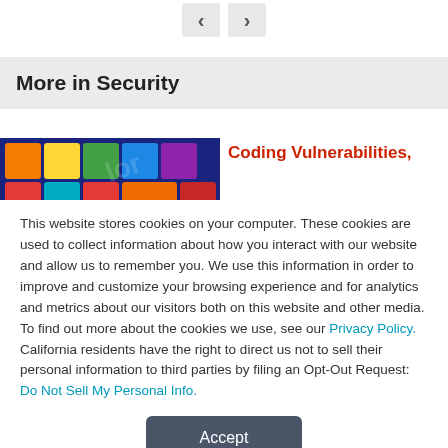[Figure (other): Navigation arrow buttons (back and forward) in light gray rounded rectangles]
More in Security
[Figure (photo): Colorful keyboard tiles/keys close-up photo]
Coding Vulnerabilities,
This website stores cookies on your computer. These cookies are used to collect information about how you interact with our website and allow us to remember you. We use this information in order to improve and customize your browsing experience and for analytics and metrics about our visitors both on this website and other media. To find out more about the cookies we use, see our Privacy Policy. California residents have the right to direct us not to sell their personal information to third parties by filing an Opt-Out Request: Do Not Sell My Personal Info.
Accept